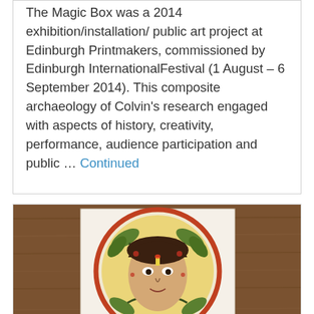The Magic Box was a 2014 exhibition/installation/ public art project at Edinburgh Printmakers, commissioned by Edinburgh InternationalFestival (1 August – 6 September 2014). This composite archaeology of Colvin's research engaged with aspects of history, creativity, performance, audience participation and public … Continued
[Figure (photo): A circular decorative artwork featuring a human face surrounded by ornate leaf and vine motifs in green, red, and yellow, placed on an open book or album page, resting on a wooden surface.]